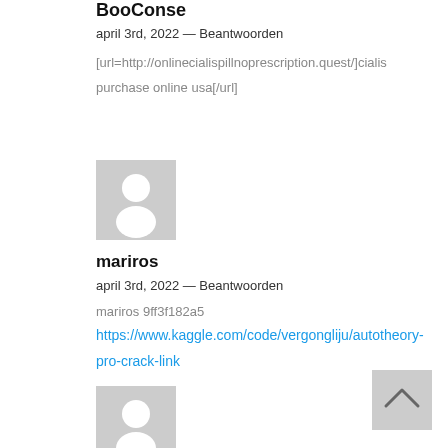BooConse
april 3rd, 2022 — Beantwoorden
[url=http://onlinecialispillnoprescription.quest/]cialis purchase online usa[/url]
[Figure (illustration): Gray placeholder avatar icon with person silhouette]
mariros
april 3rd, 2022 — Beantwoorden
mariros 9ff3f182a5
https://www.kaggle.com/code/vergongliju/autotheory-pro-crack-link
[Figure (illustration): Gray placeholder avatar icon with person silhouette (bottom)]
[Figure (illustration): Gray back-to-top button with upward chevron arrow]